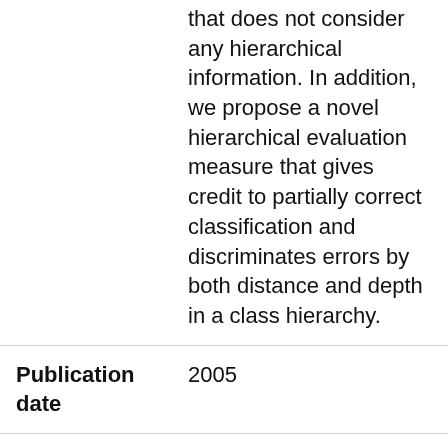that does not consider any hierarchical information. In addition, we propose a novel hierarchical evaluation measure that gives credit to partially correct classification and discriminates errors by both distance and depth in a class hierarchy.
| Field | Value |
| --- | --- |
| Publication date | 2005 |
| In | Proceedings of the BioLINK SIG: Linking Literature, Information and Knowledge for Biology, |